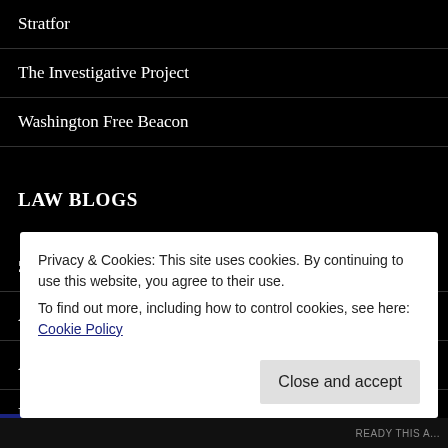Stratfor
The Investigative Project
Washington Free Beacon
LAW BLOGS
50 Great Law Blogs
Above The Law
ACLJ
Becket Fund
Privacy & Cookies: This site uses cookies. By continuing to use this website, you agree to their use.
To find out more, including how to control cookies, see here: Cookie Policy
READY THIS A...